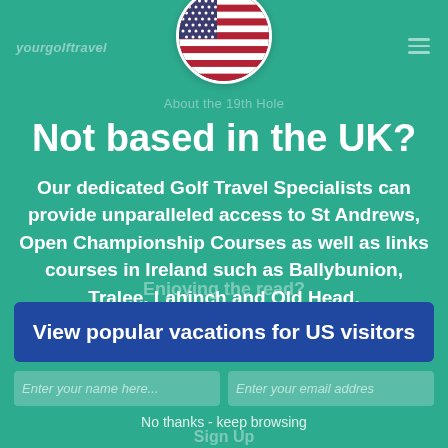[Figure (illustration): US flag circular badge/icon centered at top of modal overlay]
yourgolftravel
About the 19th Hole
Not based in the UK?
Our dedicated Golf Travel Specialists can provide unparalleled access to St Andrews, Open Championship Courses as well as links courses in Ireland such as Ballybunion, Tralee, Lahinch and Old Head.
Enjoying the read?
View popular vacations for US visitors
Enter your name here...
Enter your email addres
No thanks - keep browsing
Sign Up